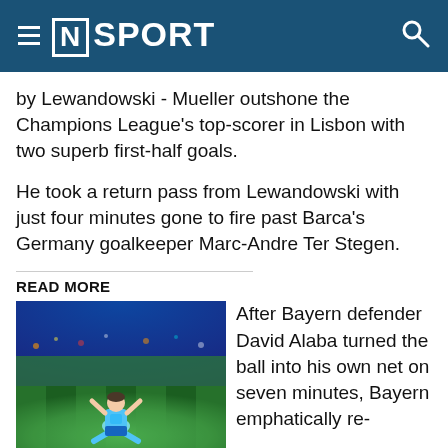≡ [N] SPORT
by Lewandowski - Mueller outshone the Champions League's top-scorer in Lisbon with two superb first-half goals.
He took a return pass from Lewandowski with just four minutes gone to fire past Barca's Germany goalkeeper Marc-Andre Ter Stegen.
READ MORE
[Figure (photo): Football player in light blue Manchester City kit sliding on knees celebrating a goal on a green pitch with crowd in background]
After Bayern defender David Alaba turned the ball into his own net on seven minutes, Bayern emphatically re-